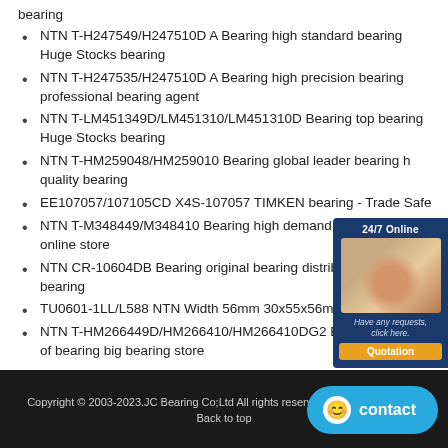bearing
NTN T-H247549/H247510D A Bearing high standard bearing Huge Stocks bearing
NTN T-H247535/H247510D A Bearing high precision bearing professional bearing agent
NTN T-LM451349D/LM451310/LM451310D Bearing top bearing Huge Stocks bearing
NTN T-HM259048/HM259010 Bearing global leader bearing high quality bearing
EE107057/107105CD X4S-107057 TIMKEN bearing - Trade Safe
NTN T-M348449/M348410 Bearing high demand bearing bearing online store
NTN CR-10604DB Bearing original bearing distributor millions bearing
TU0601-1LL/L588 NTN Width 56mm 30x55x56mm Tapered roller
NTN T-HM266449D/HM266410/HM266410DG2 Bearing millions of bearing big bearing store
[Figure (illustration): Customer service agent with headset, 24/7 Online chat widget with Quotation button]
Copyright © 2003-2023.JC Bearing Co;Ltd All rights reserved. | bearing-sale.com
Back to top